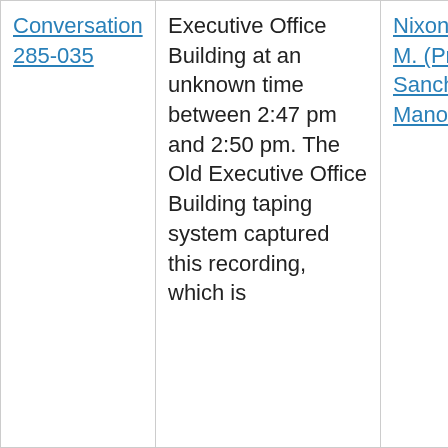| Conversation | Description | Participants | Audio |
| --- | --- | --- | --- |
| Conversation 285-035 | Executive Office Building at an unknown time between 2:47 pm and 2:50 pm. The Old Executive Office Building taping system captured this recording, which is | Nixon, Richard M. (President), Sanchez, Manolo | ▶ 0:0… |